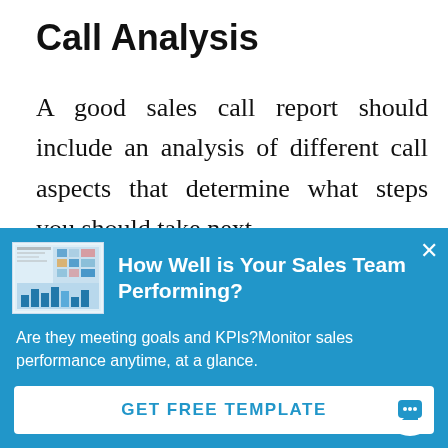Call Analysis
A good sales call report should include an analysis of different call aspects that determine what steps you should take next.
For example, you can write down the
[Figure (screenshot): Small thumbnail image of a sales dashboard/report with charts and a heatmap]
How Well is Your Sales Team Performing?
Are they meeting goals and KPIs?Monitor sales performance anytime, at a glance.
GET FREE TEMPLATE